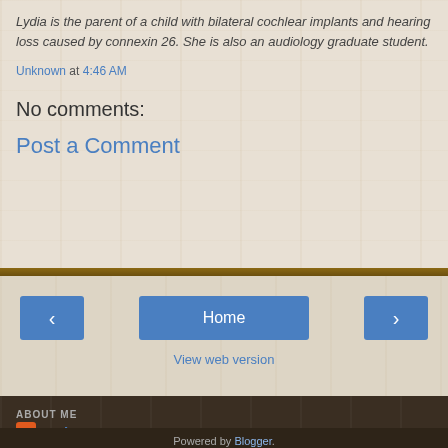Lydia is the parent of a child with bilateral cochlear implants and hearing loss caused by connexin 26. She is also an audiology graduate student.
Unknown at 4:46 AM
No comments:
Post a Comment
Home
View web version
ABOUT ME
Unknown
View my complete profile
Powered by Blogger.